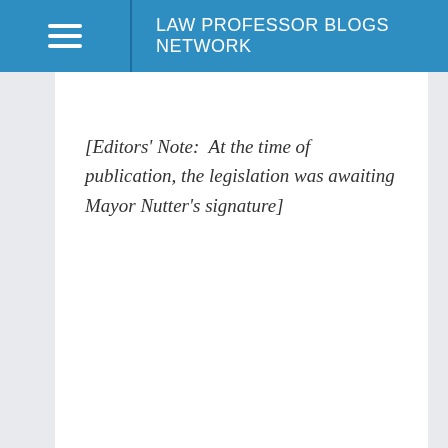LAW PROFESSOR BLOGS NETWORK
[Editors' Note:  At the time of publication, the legislation was awaiting Mayor Nutter's signature]